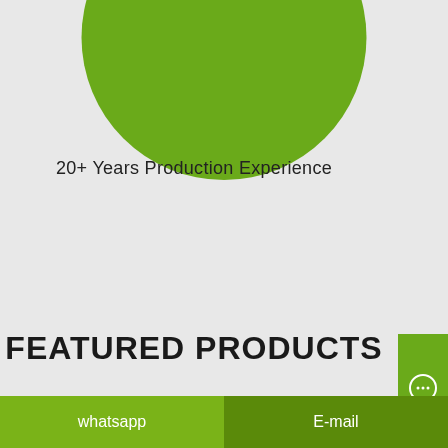[Figure (illustration): A large green circle (partially cropped at top) serving as a decorative graphic element]
20+ Years Production Experience
FEATURED PRODUCTS
[Figure (illustration): Green chat/message bubble icon button on right side]
whatsapp    E-mail